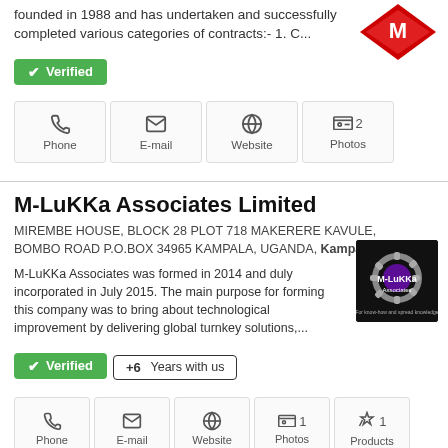founded in 1988 and has undertaken and successfully completed various categories of contracts:- 1. C...
[Figure (logo): Red diamond-shaped logo with white M letter]
✓ Verified
Phone | E-mail | Website | 2 Photos
M-LuKKa Associates Limited
MIREMBE HOUSE, BLOCK 28 PLOT 718 MAKERERE KAVULE, BOMBO ROAD P.O.BOX 34965 KAMPALA, UGANDA, Kampala
M-LuKKa Associates was formed in 2014 and duly incorporated in July 2015. The main purpose for forming this company was to bring about technological improvement by delivering global turnkey solutions,...
[Figure (logo): Black square logo with gear icon and M-LuKKa Associates text]
✓ Verified  +6 Years with us
Phone | E-mail | Website | 1 Photos | 1 Products